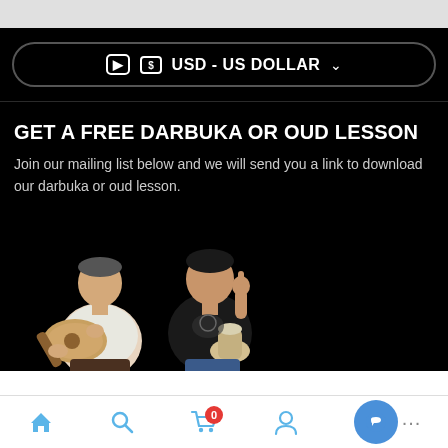[Figure (screenshot): Gray top bar area of a mobile app]
USD - US DOLLAR
GET A FREE DARBUKA OR OUD LESSON
Join our mailing list below and we will send you a link to download our darbuka or oud lesson.
[Figure (photo): Two musicians on black background: one older man seated playing an oud (lute), one younger man holding a darbuka (goblet drum) giving thumbs up]
Home | Search | Cart (0) | Account | Chat | ...